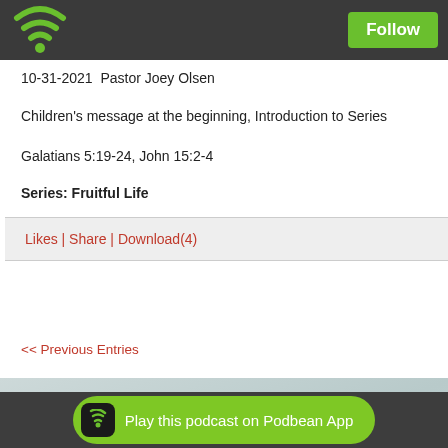Follow
10-31-2021  Pastor Joey Olsen
Children's message at the beginning, Introduction to Series
Galatians 5:19-24, John 15:2-4
Series: Fruitful Life
Likes | Share | Download(4)
<< Previous Entries
Christ's Community Church is proudly powered by Podbean.com.
Play this podcast on Podbean App